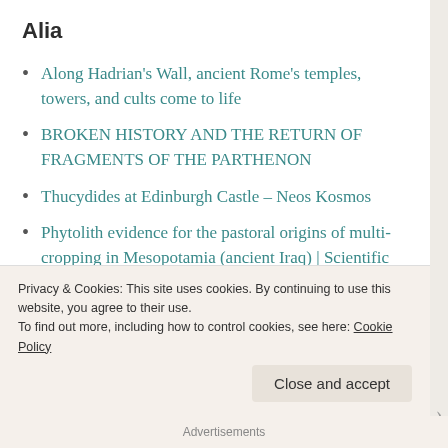Alia
Along Hadrian's Wall, ancient Rome's temples, towers, and cults come to life
BROKEN HISTORY AND THE RETURN OF FRAGMENTS OF THE PARTHENON
Thucydides at Edinburgh Castle – Neos Kosmos
Phytolith evidence for the pastoral origins of multi-cropping in Mesopotamia (ancient Iraq) | Scientific Reports
Privacy & Cookies: This site uses cookies. By continuing to use this website, you agree to their use.
To find out more, including how to control cookies, see here: Cookie Policy
Advertisements